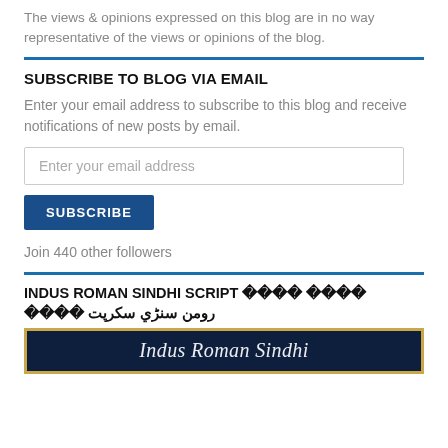The views & opinions expressed on this blog are in no way representative of the views or opinions of the blog.
SUBSCRIBE TO BLOG VIA EMAIL
Enter your email address to subscribe to this blog and receive notifications of new posts by email.
Enter your email address
SUBSCRIBE
Join 440 other followers
INDUS ROMAN SINDHI SCRIPT رومن سنڌي سڪرپت
[Figure (other): Dark navy blue banner image with gold border, showing the beginning of 'Indus Roman Sindhi' text in white italic serif font]